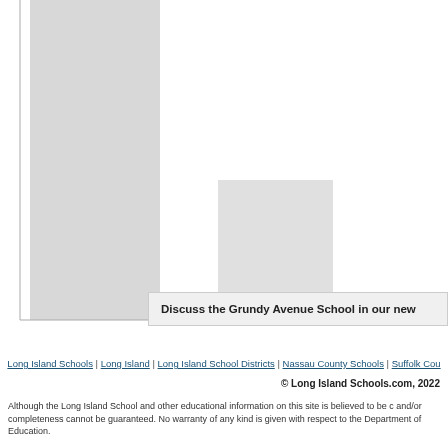[Figure (bar-chart): Partial view of a bar chart showing two vertical bars on the left side of the page, with the rest of the chart area white/empty]
Discuss the Grundy Avenue School in our new...
Long Island Schools | Long Island | Long Island School Districts | Nassau County Schools | Suffolk Cou...
© Long Island Schools.com, 2022
Although the Long Island School and other educational information on this site is believed to be c... and/or completeness cannot be guaranteed. No warranty of any kind is given with respect to the... Department of Education.